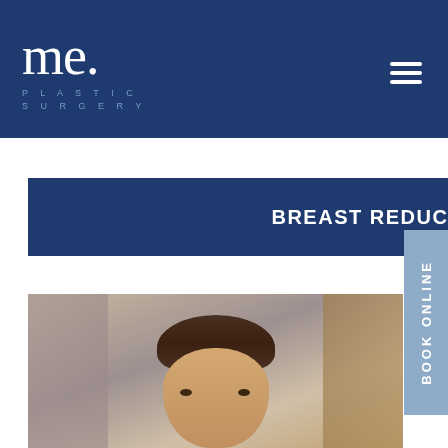[Figure (logo): me. Plastic Surgery logo in white script on dark navy blue header with hamburger menu icon]
BREAST REDUCTION GALLERY
[Figure (photo): Portrait photo of a surgeon or doctor, male, dark short hair, photographed from about chest level up, blurred background]
BOOK ONLINE